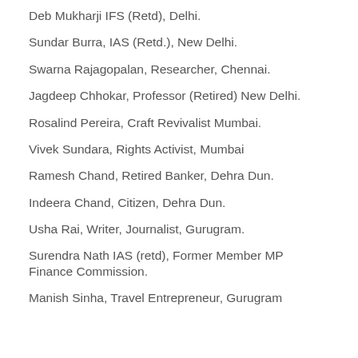Deb Mukharji IFS (Retd), Delhi.
Sundar Burra, IAS (Retd.), New Delhi.
Swarna Rajagopalan, Researcher, Chennai.
Jagdeep Chhokar, Professor (Retired) New Delhi.
Rosalind Pereira, Craft Revivalist Mumbai.
Vivek Sundara, Rights Activist, Mumbai
Ramesh Chand, Retired Banker, Dehra Dun.
Indeera Chand, Citizen, Dehra Dun.
Usha Rai, Writer, Journalist, Gurugram.
Surendra Nath IAS (retd), Former Member MP Finance Commission.
Manish Sinha, Travel Entrepreneur, Gurugram